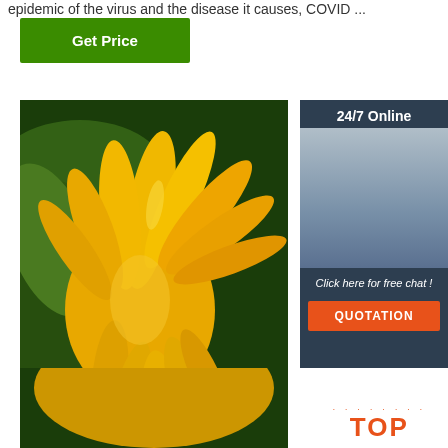epidemic of the virus and the disease it causes, COVID ...
Get Price
[Figure (photo): Photo of Buddha's hand citrus fruit (finger citron) - bright yellow elongated segments resembling fingers, with green leaves in background]
[Figure (photo): 24/7 Online customer service panel showing a smiling woman with headset, text 'Click here for free chat!' and QUOTATION button]
24/7 Online
Click here for free chat !
QUOTATION
TOP